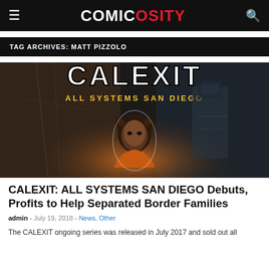COMICOSITY
TAG ARCHIVES: MATT PIZZOLO
[Figure (illustration): CALEXIT comic book cover showing a young woman with bear-ear hair and the text 'CALEXIT ALL SYSTEMS SAN DIEGO' over a dystopian illustrated background]
CALEXIT: ALL SYSTEMS SAN DIEGO Debuts, Profits to Help Separated Border Families
admin - July 19, 2018 - News, Other
The CALEXIT ongoing series was released in July 2017 and sold out all